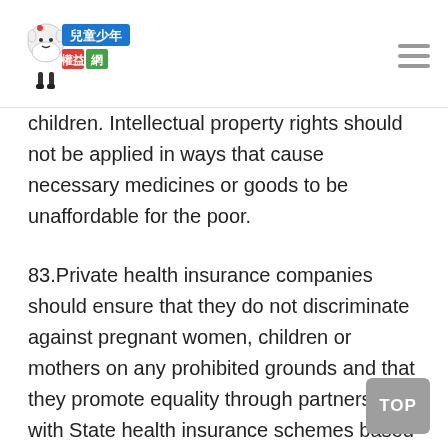兒童少年權益網 [logo with mascot]
children. Intellectual property rights should not be applied in ways that cause necessary medicines or goods to be unaffordable for the poor.
83.Private health insurance companies should ensure that they do not discriminate against pregnant women, children or mothers on any prohibited grounds and that they promote equality through partnerships with State health insurance schemes based on the principle of solidarity and ensuring that inability to pay does not restrict access to services.